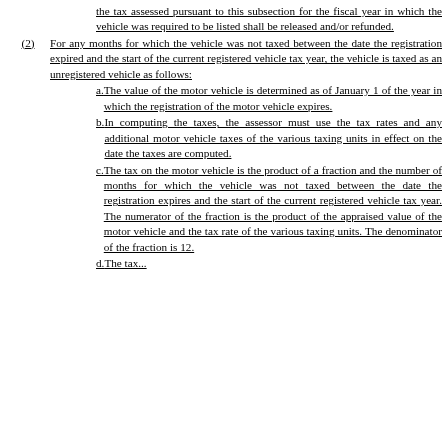the tax assessed pursuant to this subsection for the fiscal year in which the vehicle was required to be listed shall be released and/or refunded.
(2) For any months for which the vehicle was not taxed between the date the registration expired and the start of the current registered vehicle tax year, the vehicle is taxed as an unregistered vehicle as follows:
a. The value of the motor vehicle is determined as of January 1 of the year in which the registration of the motor vehicle expires.
b. In computing the taxes, the assessor must use the tax rates and any additional motor vehicle taxes of the various taxing units in effect on the date the taxes are computed.
c. The tax on the motor vehicle is the product of a fraction and the number of months for which the vehicle was not taxed between the date the registration expires and the start of the current registered vehicle tax year. The numerator of the fraction is the product of the appraised value of the motor vehicle and the tax rate of the various taxing units. The denominator of the fraction is 12.
d. The tax...